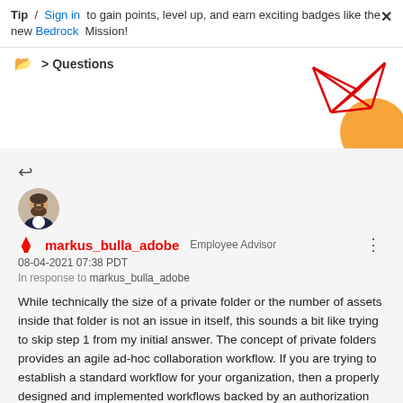Tip / Sign in to gain points, level up, and earn exciting badges like the new Bedrock Mission!
Questions
[Figure (illustration): Decorative geometric red line art and orange circle shapes in top right corner]
[Figure (photo): User avatar photo of markus_bulla_adobe, a man in a suit]
markus_bulla_adobe  Employee Advisor
08-04-2021 07:38 PDT
In response to markus_bulla_adobe
While technically the size of a private folder or the number of assets inside that folder is not an issue in itself, this sounds a bit like trying to skip step 1 from my initial answer. The concept of private folders provides an agile ad-hoc collaboration workflow. If you are trying to establish a standard workflow for your organization, then a properly designed and implemented workflows backed by an authorization